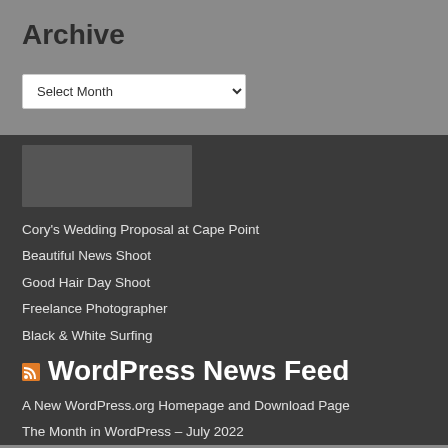Archive
[Figure (screenshot): Select Month dropdown widget]
Cory's Wedding Proposal at Cape Point
Beautiful News Shoot
Good Hair Day Shoot
Freelance Photographer
Black & White Surfing
WordPress News Feed
A New WordPress.org Homepage and Download Page
The Month in WordPress – July 2022